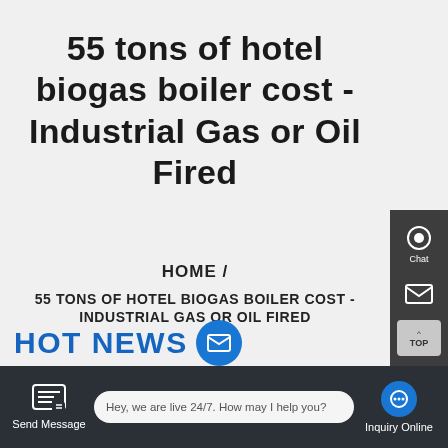55 tons of hotel biogas boiler cost - Industrial Gas or Oil Fired
HOME  /
55 TONS OF HOTEL BIOGAS BOILER COST - INDUSTRIAL GAS OR OIL FIRED
[Figure (screenshot): WhatsApp contact button (green circle icon) with 'Contact us now!' green pill button beside it]
[Figure (screenshot): Right sidebar with dark background showing Chat icon, email icon, TOP button, and ellipsis/contact icons]
HOT NEWS
Hey, we are live 24/7. How may I help you?
Send Message
Inquiry Online